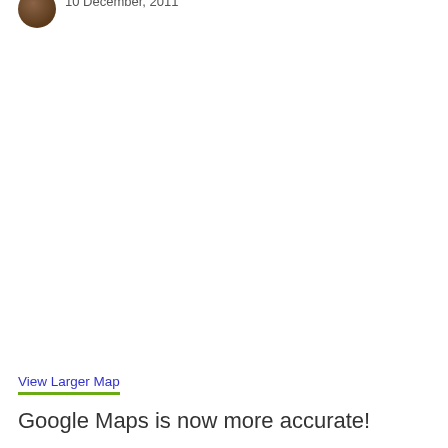10 December, 2011
[Figure (map): Embedded Google Map (blank/white area)]
View Larger Map
Google Maps is now more accurate!